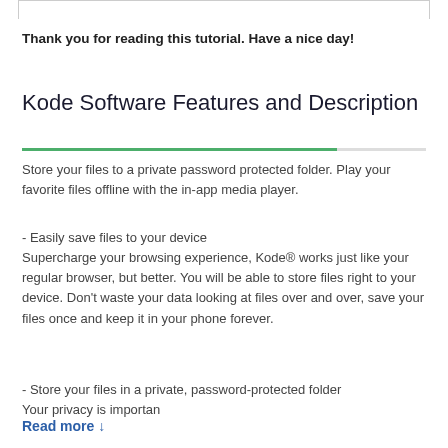Thank you for reading this tutorial. Have a nice day!
Kode Software Features and Description
Store your files to a private password protected folder. Play your favorite files offline with the in-app media player.
- Easily save files to your device
Supercharge your browsing experience, Kode® works just like your regular browser, but better. You will be able to store files right to your device. Don't waste your data looking at files over and over, save your files once and keep it in your phone forever.
- Store your files in a private, password-protected folder
Your privacy is importan
Read more ↓